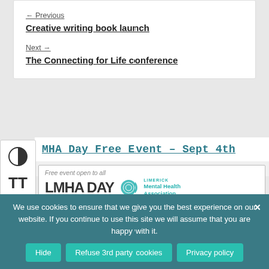← Previous
Creative writing book launch
Next →
The Connecting for Life conference
MHA Day Free Event – Sept 4th
[Figure (logo): LMHA Day event banner with text 'Free event open to all' and Limerick Mental Health Association logo]
We use cookies to ensure that we give you the best experience on our website. If you continue to use this site we will assume that you are happy with it.
Hide | Refuse 3rd party cookies | Privacy policy